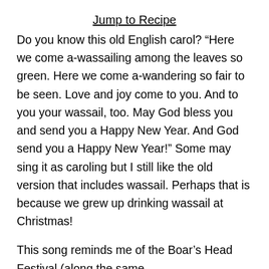Jump to Recipe
Do you know this old English carol? “Here we come a-wassailing among the leaves so green. Here we come a-wandering so fair to be seen. Love and joy come to you. And to you your wassail, too. May God bless you and send you a Happy New Year. And God send you a Happy New Year!” Some may sing it as caroling but I still like the old version that includes wassail. Perhaps that is because we grew up drinking wassail at Christmas!
This song reminds me of the Boar’s Head Festival (along the same vague, mysterious thing...)